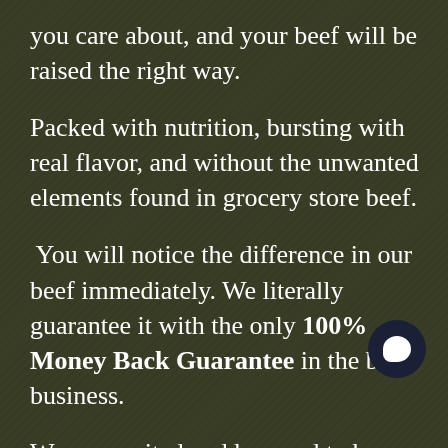you care about, and your beef will be raised the right way.
Packed with nutrition, bursting with real flavor, and without the unwanted elements found in grocery store beef.
You will notice the difference in our beef immediately. We literally guarantee it with the only 100% Money Back Guarantee in the beef business.
We are excited and honored to be your